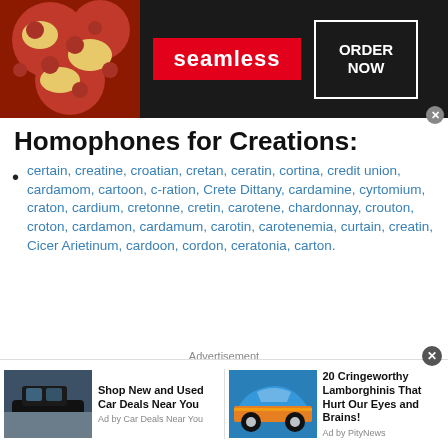[Figure (other): Seamless food delivery advertisement banner with pizza image on left, Seamless logo in center, and ORDER NOW button on right]
Homophones for Creations:
certain, creatine, croatian, cretan, ceratin, cortina, credit union, cardamom, cartoon, c-ration, Crete Dittany, cardamine, cyrtomium, craton, cardium, cretonne, cretin, carotene, chardonnay, crouton, croton, cardamon, cardamum, carotin, carotenemia, curtain, creatin, Cicer Arietinum, cardoon, cordon, ceratonia, carton.
Advertisement
[Figure (other): Two bottom advertisement panels: left shows SUV car ad for 'Shop New and Used Car Deals Near You' by Car Deals Near You; right shows Lamborghini ad for '20 Cringeworthy Lamborghinis That Hurt Our Eyes and Brains!' by PityNews]